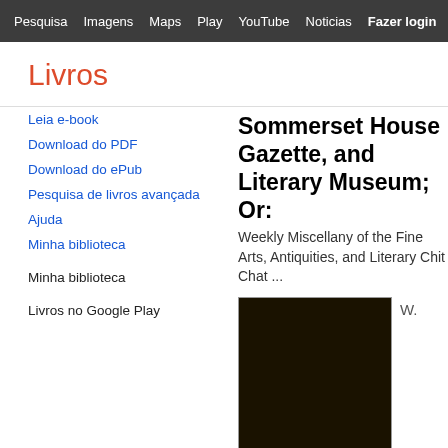Pesquisa  Imagens  Maps  Play  YouTube  Noticias  Fazer login  Give  ⚙ a
Livros
Leia e-book
Download do PDF
Download do ePub
Pesquisa de livros avançada
Ajuda
Minha biblioteca
Minha biblioteca
Livros no Google Play
Sommerset House Gazette, and Literary Museum; Or:
Weekly Miscellany of the Fine Arts, Antiquities, and Literary Chit Chat ...
[Figure (photo): Dark brown book cover image with page curl at bottom right corner]
W.